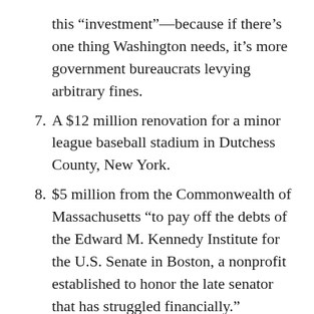this “investment”—because if there’s one thing Washington needs, it’s more government bureaucrats levying arbitrary fines.
7. A $12 million renovation for a minor league baseball stadium in Dutchess County, New York.
8. $5 million from the Commonwealth of Massachusetts “to pay off the debts of the Edward M. Kennedy Institute for the U.S. Senate in Boston, a nonprofit established to honor the late senator that has struggled financially.”
9. $15 million in New Jersey to fund upgrades “to sweeten the state’s bid to host the 2026